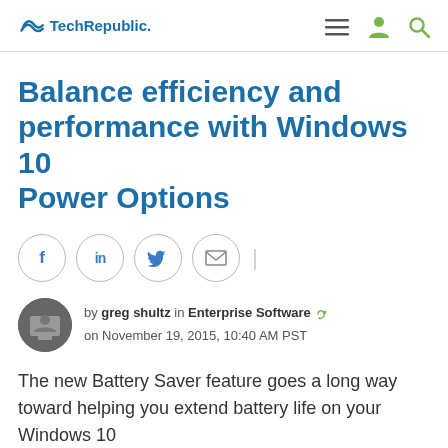TechRepublic
Balance efficiency and performance with Windows 10 Power Options
[Figure (infographic): Social sharing icons: Facebook, LinkedIn, Twitter, Email in circular borders]
by greg shultz in Enterprise Software on November 19, 2015, 10:40 AM PST
The new Battery Saver feature goes a long way toward helping you extend battery life on your Windows 10